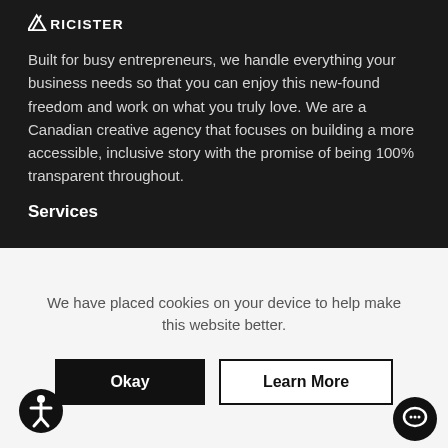[Figure (logo): Ricister brand logo with geometric icon and wordmark in white on dark background]
Built for busy entrepreneurs, we handle everything your business needs so that you can enjoy this new-found freedom and work on what you truly love. We are a Canadian creative agency that focuses on building a more accessible, inclusive story with the promise of being 100% transparent throughout.
Services
We have placed cookies on your device to help make this website better.
Okay
Learn More